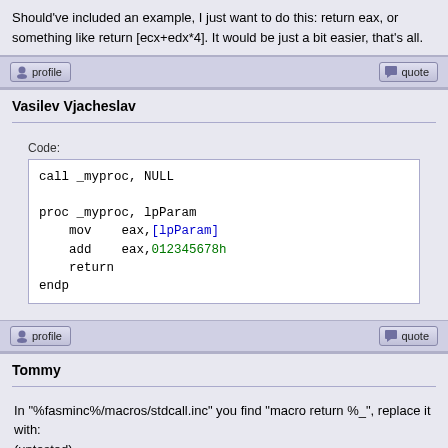Should've included an example, I just want to do this: return eax, or something like return [ecx+edx*4]. It would be just a bit easier, that's all.
profile | quote
Vasilev Vjacheslav
Code:
call _myproc, NULL

proc _myproc, lpParam
    mov    eax,[lpParam]
    add    eax,012345678h
    return
endp
profile | quote
Tommy
In "%fasminc%/macros/stdcall.inc" you find "macro return %_", replace it with:
(untested)
Code:
macro return retval %_
    if retval